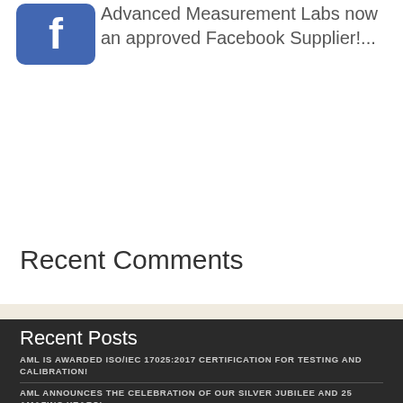[Figure (logo): Facebook logo button - blue rounded rectangle with white Facebook 'f' icon]
Advanced Measurement Labs now an approved Facebook Supplier!...
READ MORE
Recent Comments
Recent Posts
AML IS AWARDED ISO/IEC 17025:2017 CERTIFICATION FOR TESTING AND CALIBRATION!
AML ANNOUNCES THE CELEBRATION OF OUR SILVER JUBILEE AND 25 AMAZING YEARS!